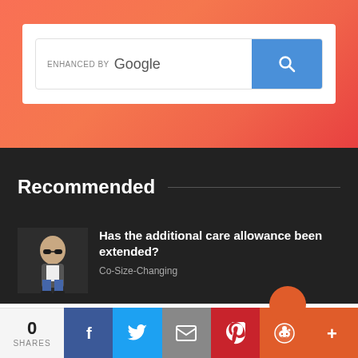[Figure (screenshot): Google search bar with 'ENHANCED BY Google' label and blue search button]
Recommended
[Figure (photo): Thumbnail photo of a young child wearing sunglasses]
Has the additional care allowance been extended?
Co-Size-Changing
0 SHARES
[Figure (infographic): Social share bar with Facebook, Twitter, Email, Pinterest, Reddit, and More buttons]